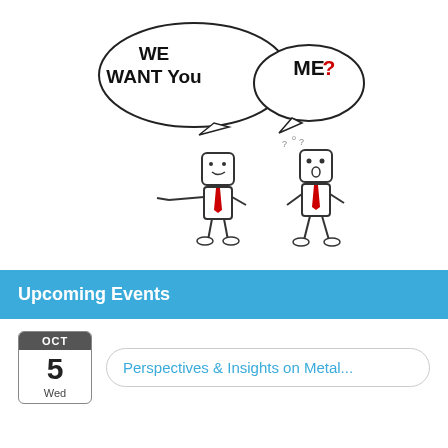[Figure (illustration): Cartoon illustration of two stick-figure businessmen with speech bubbles. The left figure has a speech bubble saying 'WE WANT YOU' and is pointing at the right figure. The right figure has a speech bubble saying 'ME?' with question marks floating above their head. Both figures are wearing red ties.]
Upcoming Events
OCT 5 Wed — Perspectives & Insights on Metal...